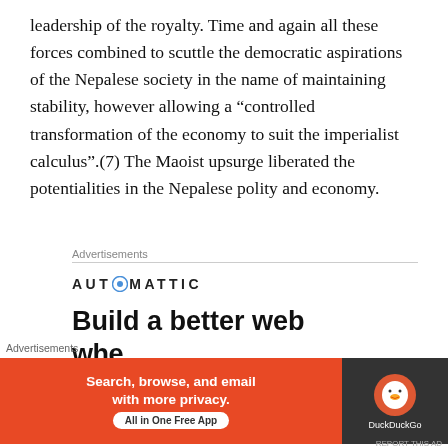leadership of the royalty. Time and again all these forces combined to scuttle the democratic aspirations of the Nepalese society in the name of maintaining stability, however allowing a “controlled transformation of the economy to suit the imperialist calculus”.(7) The Maoist upsurge liberated the potentialities in the Nepalese polity and economy.
Advertisements
[Figure (other): Automattic advertisement banner with logo and text 'Build a better web']
Advertisements
[Figure (other): DuckDuckGo advertisement banner: 'Search, browse, and email with more privacy. All in One Free App' on orange background with DuckDuckGo logo on dark background]